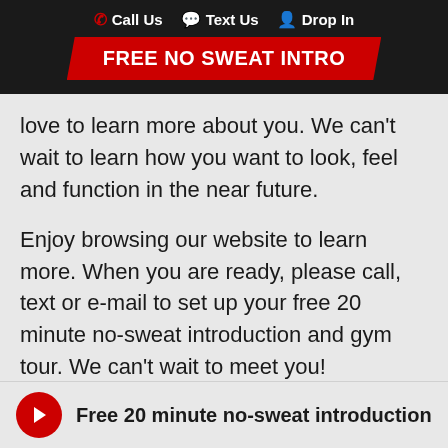Call Us  Text Us  Drop In
FREE NO SWEAT INTRO
love to learn more about you. We can’t wait to learn how you want to look, feel and function in the near future.
Enjoy browsing our website to learn more. When you are ready, please call, text or e-mail to set up your free 20 minute no-sweat introduction and gym tour. We can’t wait to meet you!
Free 20 minute no-sweat introduction